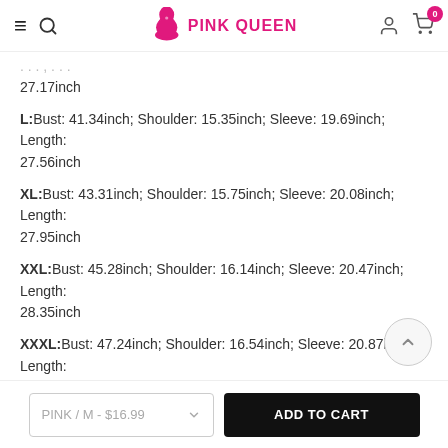PINK QUEEN
27.17inch
L:Bust: 41.34inch; Shoulder: 15.35inch; Sleeve: 19.69inch; Length: 27.56inch
XL:Bust: 43.31inch; Shoulder: 15.75inch; Sleeve: 20.08inch; Length: 27.95inch
XXL:Bust: 45.28inch; Shoulder: 16.14inch; Sleeve: 20.47inch; Length: 28.35inch
XXXL:Bust: 47.24inch; Shoulder: 16.54inch; Sleeve: 20.87inch; Length: 28.74inch
PINK / M - $16.99 ADD TO CART